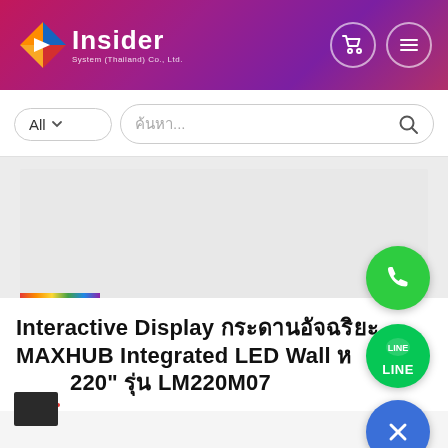[Figure (logo): Insider System Thailand Co., Ltd. logo with colorful diamond/arrow icon and white text on purple-pink gradient header]
[Figure (screenshot): Search bar with All dropdown and Thai placeholder text ค้นหา...]
[Figure (photo): Product image area - grey placeholder with rainbow gradient strip at bottom left]
[Figure (illustration): Green phone call floating button]
[Figure (illustration): Green LINE app floating button]
[Figure (illustration): Blue close/X floating button]
Interactive Display กระดานอัจฉริยะ MAXHUB Integrated LED Wall หน้าจอ 220" รุ่น LM220M07